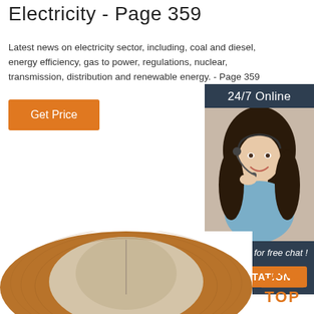Electricity - Page 359
Latest news on electricity sector, including, coal and diesel, energy efficiency, gas to power, regulations, nuclear, transmission, distribution and renewable energy. - Page 359
[Figure (other): Orange 'Get Price' button]
[Figure (other): Sidebar with '24/7 Online' header, photo of woman with headset, 'Click here for free chat!' text, and orange QUOTATION button]
[Figure (photo): Top-down view of a brown bucket hat showing the interior lining]
[Figure (other): Orange 'TOP' icon with dots above in lower right corner]